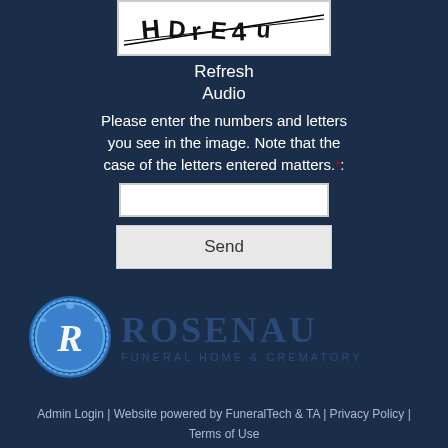[Figure (other): CAPTCHA image showing distorted text/numbers with strikethrough lines]
Refresh
Audio
Please enter the numbers and letters you see in the image. Note that the case of the letters entered matters.*:
[Figure (other): Text input box for CAPTCHA entry]
Send
[Figure (logo): Rosenau Funeral Home & Crematory logo with blue circular R emblem]
Admin Login | Website powered by FuneralTech & TA | Privacy Policy | Terms of Use